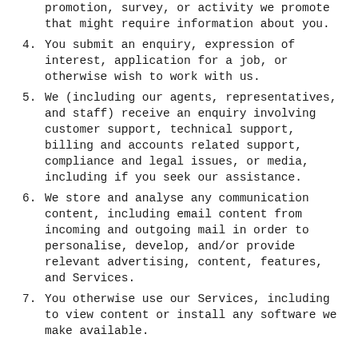promotion, survey, or activity we promote that might require information about you.
4. You submit an enquiry, expression of interest, application for a job, or otherwise wish to work with us.
5. We (including our agents, representatives, and staff) receive an enquiry involving customer support, technical support, billing and accounts related support, compliance and legal issues, or media, including if you seek our assistance.
6. We store and analyse any communication content, including email content from incoming and outgoing mail in order to personalise, develop, and/or provide relevant advertising, content, features, and Services.
7. You otherwise use our Services, including to view content or install any software we make available.
2. INFORMATION FROM ANALYTICS, COOKIES, TRACKING, AND SIMILAR